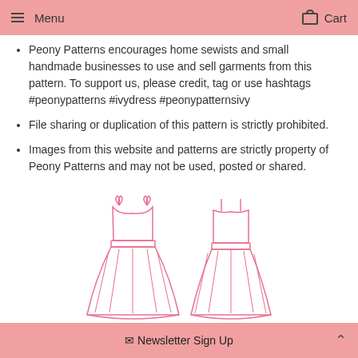Menu  Cart
Peony Patterns encourages home sewists and small handmade businesses to use and sell garments from this pattern. To support us, please credit, tag or use hashtags #peonypatterns #ivydress #peonypatternsivy
File sharing or duplication of this pattern is strictly prohibited.
Images from this website and patterns are strictly property of Peony Patterns and may not be used, posted or shared.
[Figure (illustration): Two line-drawing illustrations of a dress (front and back views): a flared skirt dress with bow straps on the front view and thin straps on the back view, drawn in pink outline.]
✉ Newsletter Sign Up